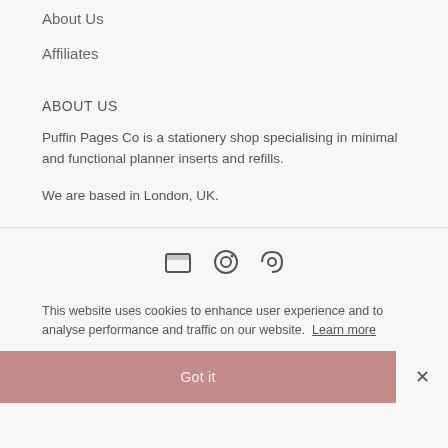About Us
Affiliates
ABOUT US
Puffin Pages Co is a stationery shop specialising in minimal and functional planner inserts and refills.
We are based in London, UK.
[Figure (illustration): Social media icons (Pinterest, Instagram, another social)]
This website uses cookies to enhance user experience and to analyse performance and traffic on our website. Learn more
Got it